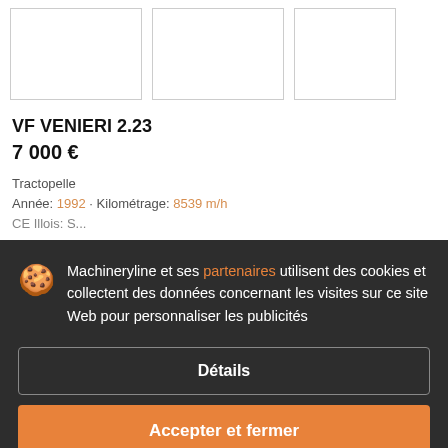[Figure (photo): Three thumbnail image placeholders shown as empty white boxes with light grey borders in a horizontal row]
VF VENIERI 2.23
7 000 €
Tractopelle
Année: 1992 · Kilométrage: 8539 m/h
CE Illois: S...
Machineryline et ses partenaires utilisent des cookies et collectent des données concernant les visites sur ce site Web pour personnaliser les publicités
Détails
Accepter et fermer